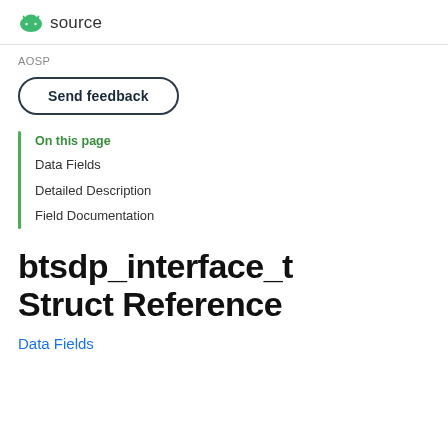source
AOSP
Send feedback
On this page
Data Fields
Detailed Description
Field Documentation
btsdp_interface_t Struct Reference
Data Fields